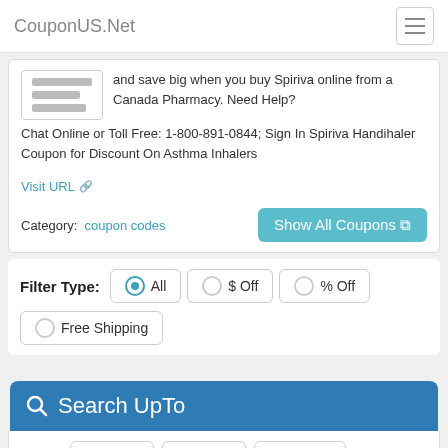CouponUS.Net
and save big when you buy Spiriva online from a Canada Pharmacy. Need Help? Chat Online or Toll Free: 1-800-891-0844; Sign In Spiriva Handihaler Coupon for Discount On Asthma Inhalers
Visit URL
Category: coupon codes
Show All Coupons
Filter Type: All   $ Off   % Off   Free Shipping
Search UpTo
% Off: 50%  70%  100%